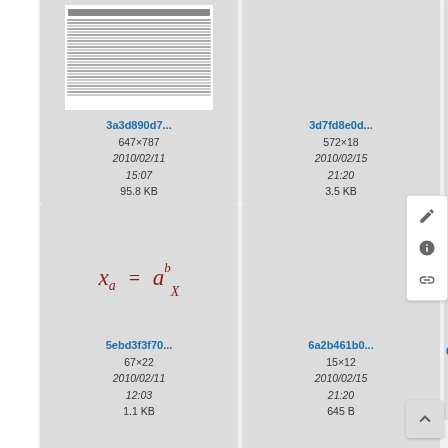[Figure (screenshot): File browser grid view showing document/image thumbnails with filenames, dimensions, dates and file sizes. Row 1: cards for '3a3d890d7...' (647×787, 2010/02/11 15:07, 95.8 KB), '3d7fd8e0d...' (572×18, 2010/02/15 21:20, 3.5 KB), '5ca60d...' (37×?, 2009/1?, 12:2?, 690?). Row 2: cards for '5ebd3f3f70...' showing formula x_a = a^b_X (67×22, 2010/02/11 12:03, 1.1 KB), '6a2b461b0...' (15×12, 2010/02/15 21:20, 645 B), '6d7474b...' (58×?, 2009/1?, 12:4?, 808?). Row partial at bottom. Right panel with edit/clock/link icons. Scroll-to-top button.]